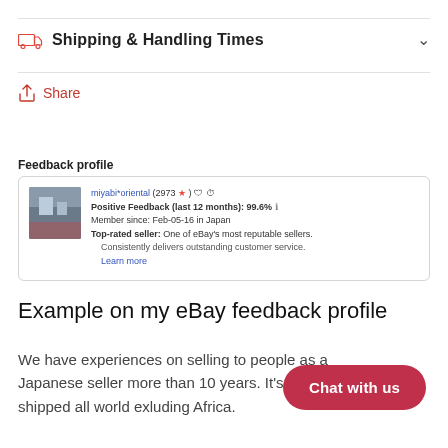Shipping & Handling Times
Share
Feedback profile
[Figure (screenshot): eBay seller feedback profile card showing miyabi*oriental (2973 stars), Positive Feedback (last 12 months): 99.6%, Member since: Feb-05-16 in Japan, Top-rated seller: One of eBay's most reputable sellers. Consistently delivers outstanding customer service. Learn more.]
Example on my eBay feedback profile
We have experiences on selling to people as a Japanese seller more than 10 years. It's shipped all world exluding Africa.